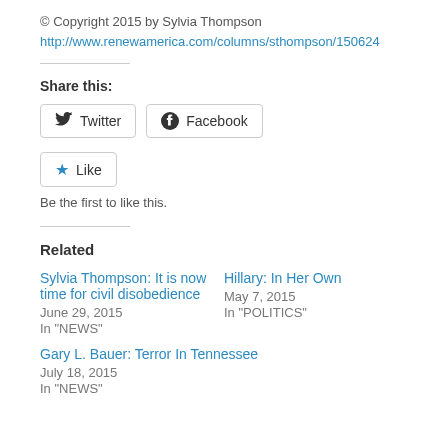© Copyright 2015 by Sylvia Thompson
http://www.renewamerica.com/columns/sthompson/150624
Share this:
Twitter  Facebook
Like
Be the first to like this.
Related
Sylvia Thompson: It is now time for civil disobedience
June 29, 2015
In "NEWS"
Hillary: In Her Own
May 7, 2015
In "POLITICS"
Gary L. Bauer: Terror In Tennessee
July 18, 2015
In "NEWS"